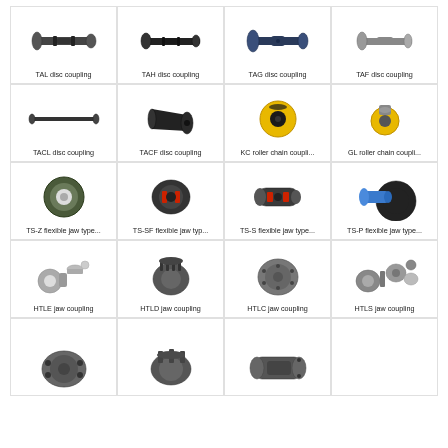[Figure (illustration): TAL disc coupling - cylindrical metal coupling component]
TAL disc coupling
[Figure (illustration): TAH disc coupling - dark metal disc coupling]
TAH disc coupling
[Figure (illustration): TAG disc coupling - blue/dark disc coupling]
TAG disc coupling
[Figure (illustration): TAF disc coupling - grey disc coupling]
TAF disc coupling
[Figure (illustration): TACL disc coupling - long thin rod coupling]
TACL disc coupling
[Figure (illustration): TACF disc coupling - conical black coupling]
TACF disc coupling
[Figure (illustration): KC roller chain coupling - yellow cylindrical coupling]
KC roller chain coupli...
[Figure (illustration): GL roller chain coupling - yellow compact coupling]
GL roller chain coupli...
[Figure (illustration): TS-Z flexible jaw type coupling - round green-black coupling]
TS-Z flexible jaw type...
[Figure (illustration): TS-SF flexible jaw type coupling with red elements]
TS-SF flexible jaw typ...
[Figure (illustration): TS-S flexible jaw type coupling with red elements]
TS-S flexible jaw type...
[Figure (illustration): TS-P flexible jaw type coupling - blue disc coupling]
TS-P flexible jaw type...
[Figure (illustration): HTLE jaw coupling - exploded view silver coupling]
HTLE jaw coupling
[Figure (illustration): HTLD jaw coupling - complex jaw coupling with pins]
HTLD jaw coupling
[Figure (illustration): HTLC jaw coupling - round grey jaw coupling]
HTLC jaw coupling
[Figure (illustration): HTLS jaw coupling - exploded view jaw coupling]
HTLS jaw coupling
[Figure (illustration): Coupling component - round flanged part]
[Figure (illustration): Coupling component - complex jaw coupling]
[Figure (illustration): Coupling component - cylindrical jaw coupling]